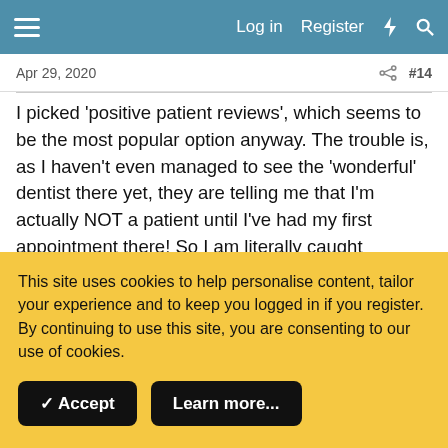Log in  Register  ⚡  🔍
Apr 29, 2020
#14
I picked 'positive patient reviews', which seems to be the most popular option anyway. The trouble is, as I haven't even managed to see the 'wonderful' dentist there yet, they are telling me that I'm actually NOT a patient until I've had my first appointment there! So I am literally caught between a rock (old dentist) and a hard place (new dentist), as neither of them will see me, or do anything to help and nor will the emergency dentist now, as I believe they think that there is a limit to how many times you are able to visit! (My real dental emergency, is not 'officially classed' as an emergency, so that means it doesn't
This site uses cookies to help personalise content, tailor your experience and to keep you logged in if you register.
By continuing to use this site, you are consenting to our use of cookies.
✓ Accept
Learn more...